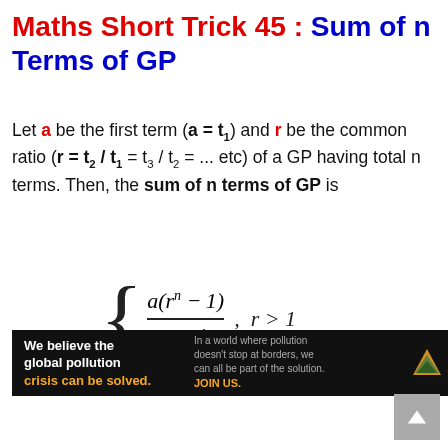Maths Short Trick 45 : Sum of n Terms of GP
Let a be the first term (a = t₁) and r be the common ratio (r = t₂ / t₁ = t₃ / t₂ = ... etc) of a GP having total n terms. Then, the sum of n terms of GP is